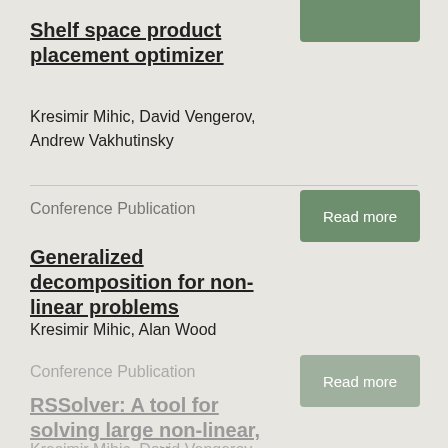Shelf space product placement optimizer
Kresimir Mihic, David Vengerov, Andrew Vakhutinsky
Conference Publication
Generalized decomposition for non-linear problems
Kresimir Mihic, Alan Wood
Conference Publication
RSSolver: A tool for solving large non-linear, non- convex discrete optimization problems
Kresimir Mihic, David Vengerov,